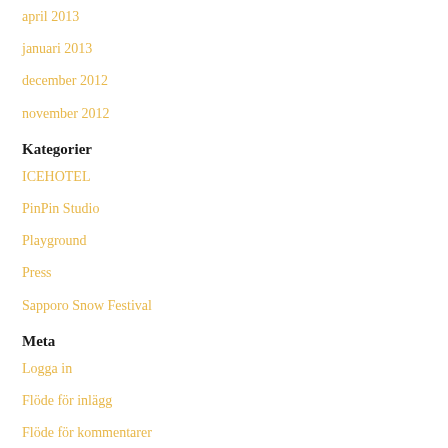april 2013
januari 2013
december 2012
november 2012
Kategorier
ICEHOTEL
PinPin Studio
Playground
Press
Sapporo Snow Festival
Meta
Logga in
Flöde för inlägg
Flöde för kommentarer
WordPress.org